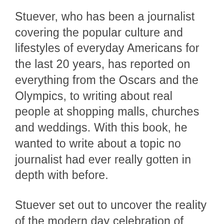Stuever, who has been a journalist covering the popular culture and lifestyles of everyday Americans for the last 20 years, has reported on everything from the Oscars and the Olympics, to writing about real people at shopping malls, churches and weddings. With this book, he wanted to write about a topic no journalist had ever really gotten in depth with before.
Stuever set out to uncover the reality of the modern day celebration of Christmas through the eyes of three families in a suburb of Frisco, Texas. The author spent three consecutive Christmas seasons with the families taking notes on Caroll Cavazos, Tammie Parnell and Jeff and Bridgette Trykoski.